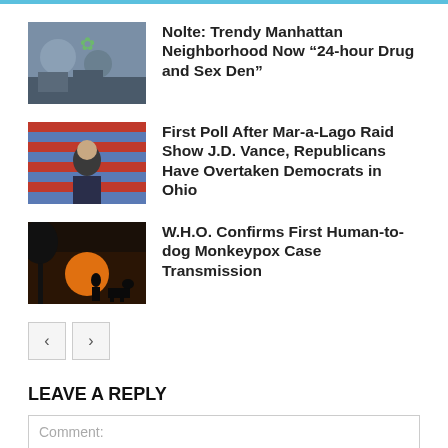[Figure (photo): People in a street scene with marijuana leaf symbol, article thumbnail]
Nolte: Trendy Manhattan Neighborhood Now “24-hour Drug and Sex Den”
[Figure (photo): Man speaking in front of American flag, article thumbnail]
First Poll After Mar-a-Lago Raid Show J.D. Vance, Republicans Have Overtaken Democrats in Ohio
[Figure (photo): Silhouette of person and dog at sunset, article thumbnail]
W.H.O. Confirms First Human-to-dog Monkeypox Case Transmission
LEAVE A REPLY
Comment: